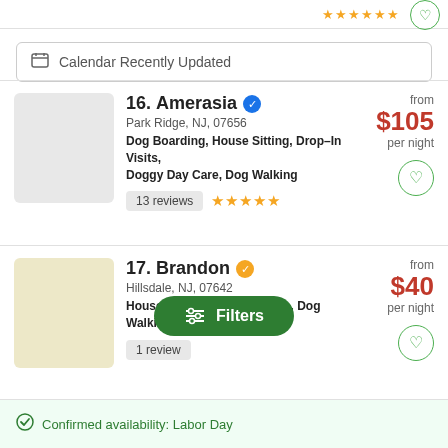[Figure (screenshot): Top partial listing bar with star ratings and heart icon]
Calendar Recently Updated
16. Amerasia
Park Ridge, NJ, 07656
Dog Boarding, House Sitting, Drop-In Visits, Doggy Day Care, Dog Walking
13 reviews ★★★★★
from $105 per night
17. Brandon
Hillsdale, NJ, 07642
House Sitting, Drop-In Visits, Dog Walking
1 review
from $40 per night
Filters
Confirmed availability: Labor Day